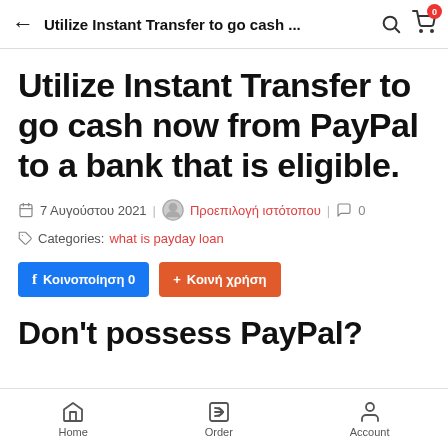Utilize Instant Transfer to go cash ...
Utilize Instant Transfer to go cash now from PayPal to a bank that is eligible.
7 Αυγούστου 2021 | Προεπιλογή ιστότοπου | 0
Categories: what is payday loan
Κοινοποίηση 0   Κοινή χρήση
Don't possess PayPal?
Home   Order   Account